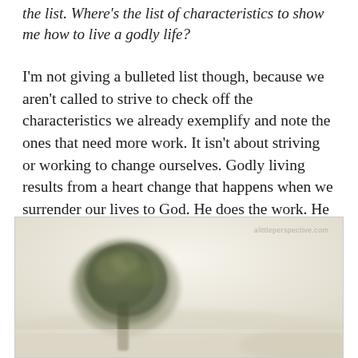the list. Where's the list of characteristics to show me how to live a godly life?
I'm not giving a bulleted list though, because we aren't called to strive to check off the characteristics we already exemplify and note the ones that need more work. It isn't about striving or working to change ourselves. Godly living results from a heart change that happens when we surrender our lives to God. He does the work. He makes the changes.
[Figure (photo): A soft-focus photograph of a lone tree in a misty, light-colored landscape. The tree has a full, rounded canopy and appears in the lower-left area of the image. A watermark reads 'alittleperspective.com' in the upper-right corner of the photo.]